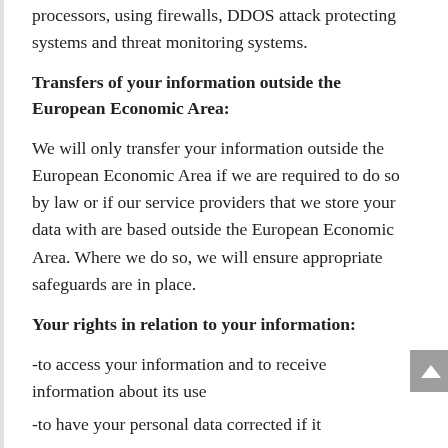processors, using firewalls, DDOS attack protecting systems and threat monitoring systems.
Transfers of your information outside the European Economic Area:
We will only transfer your information outside the European Economic Area if we are required to do so by law or if our service providers that we store your data with are based outside the European Economic Area. Where we do so, we will ensure appropriate safeguards are in place.
Your rights in relation to your information:
-to access your information and to receive information about its use
-to have your personal data corrected if it